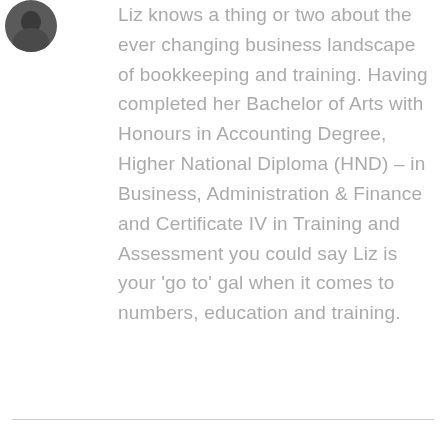[Figure (photo): Circular profile photo of a person, partially visible at top left corner]
Liz knows a thing or two about the ever changing business landscape of bookkeeping and training. Having completed her Bachelor of Arts with Honours in Accounting Degree, Higher National Diploma (HND) – in Business, Administration & Finance and Certificate IV in Training and Assessment you could say Liz is your 'go to' gal when it comes to numbers, education and training.